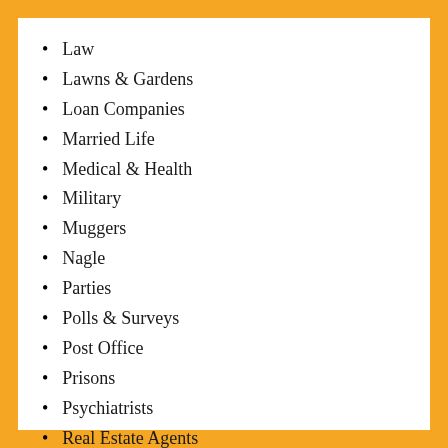Law
Lawns & Gardens
Loan Companies
Married Life
Medical & Health
Military
Muggers
Nagle
Parties
Polls & Surveys
Post Office
Prisons
Psychiatrists
Real Estate Agents
Restaurants & Bars
Schools & Colleges
Science
Signs
Sports & Games
Stores
Telephones